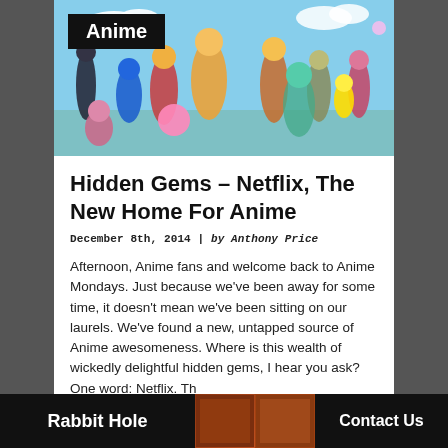[Figure (illustration): Collage of anime characters from various series including Dragon Ball Z, One Piece, Sonic, and others against a sky background with an 'Anime' badge overlay in top-left.]
Hidden Gems – Netflix, The New Home For Anime
December 8th, 2014 | by Anthony Price
Afternoon, Anime fans and welcome back to Anime Mondays. Just because we've been away for some time, it doesn't mean we've been sitting on our laurels. We've found a new, untapped source of Anime awesomeness. Where is this wealth of wickedly delightful hidden gems, I hear you ask? One word: Netflix. Th
Rabbit Hole   Contact Us